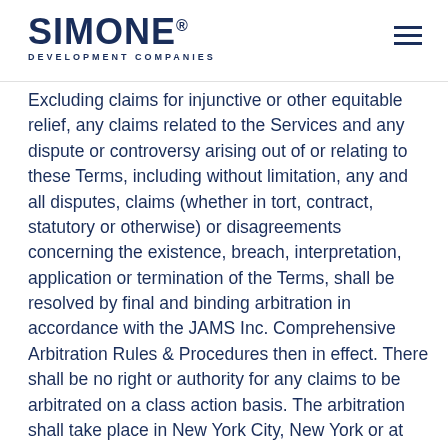SIMONE® DEVELOPMENT COMPANIES
Excluding claims for injunctive or other equitable relief, any claims related to the Services and any dispute or controversy arising out of or relating to these Terms, including without limitation, any and all disputes, claims (whether in tort, contract, statutory or otherwise) or disagreements concerning the existence, breach, interpretation, application or termination of the Terms, shall be resolved by final and binding arbitration in accordance with the JAMS Inc. Comprehensive Arbitration Rules & Procedures then in effect. There shall be no right or authority for any claims to be arbitrated on a class action basis. The arbitration shall take place in New York City, New York or at the option of the party seeking relief, online, by telephone, online, via written submissions alone, or your state of residence, and be administered by JAMS. The decision of the arbitrator will be final and binding on the parties, subject to...